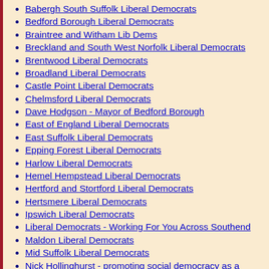Babergh South Suffolk Liberal Democrats
Bedford Borough Liberal Democrats
Braintree and Witham Lib Dems
Breckland and South West Norfolk Liberal Democrats
Brentwood Liberal Democrats
Broadland Liberal Democrats
Castle Point Liberal Democrats
Chelmsford Liberal Democrats
Dave Hodgson - Mayor of Bedford Borough
East of England Liberal Democrats
East Suffolk Liberal Democrats
Epping Forest Liberal Democrats
Harlow Liberal Democrats
Hemel Hempstead Liberal Democrats
Hertford and Stortford Liberal Democrats
Hertsmere Liberal Democrats
Ipswich Liberal Democrats
Liberal Democrats - Working For You Across Southend
Maldon Liberal Democrats
Mid Suffolk Liberal Democrats
Nick Hollinghurst - promoting social democracy as a Liberal Democrat and working for a greener world!
North Hertfordshire Liberal Democrats